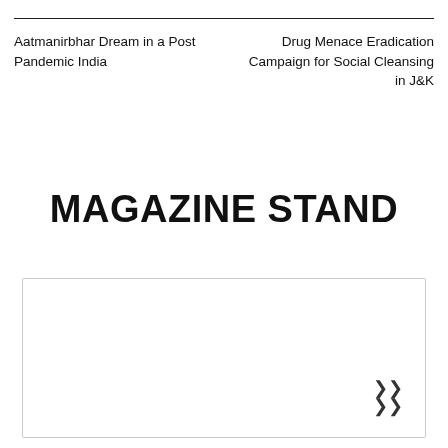Aatmanirbhar Dream in a Post Pandemic India
Drug Menace Eradication Campaign for Social Cleansing in J&K
MAGAZINE STAND
[Figure (other): Empty white content box with a double chevron (upward arrow) icon in the bottom right corner]